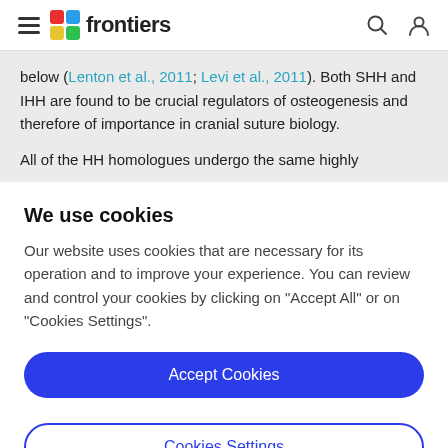frontiers
below (Lenton et al., 2011; Levi et al., 2011). Both SHH and IHH are found to be crucial regulators of osteogenesis and therefore of importance in cranial suture biology.

All of the HH homologues undergo the same highly
We use cookies
Our website uses cookies that are necessary for its operation and to improve your experience. You can review and control your cookies by clicking on "Accept All" or on "Cookies Settings".
Accept Cookies
Cookies Settings